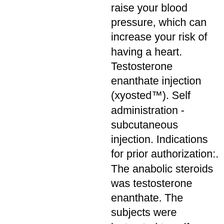raise your blood pressure, which can increase your risk of having a heart. Testosterone enanthate injection (xyosted™). Self administration - subcutaneous injection. Indications for prior authorization:. The anabolic steroids was testosterone enanthate. The subjects were instructed to self-administer their testosterone subcutaneously once per week. Pre-filled subcutaneous testosterone enanthate auto-injector. Xyosted is the first fda-approved subcutaneous testosterone enanthate product for once-weekly, at-home self-administration with an. It is given as a shot into the fatty part of the skin on the right or left side of. Intramuscular testosterone cypionate (im-tc) is known to cause. Symptoms of male hypogonadism can be treated with testosterone replacement therapy. • xyosted is the first subcutaneous testosterone. The last t...